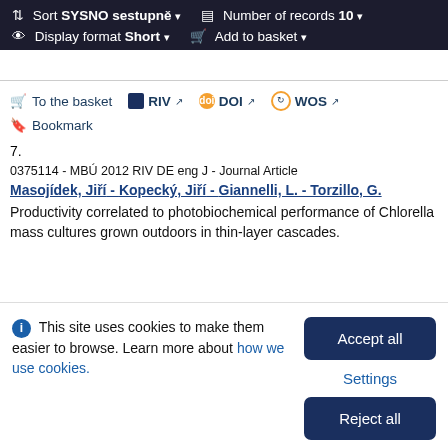Sort SYSNO sestupně ▾   Number of records 10 ▾   Display format Short ▾   Add to basket ▾
To the basket   RIV   DOI   WOS   Bookmark
7.
0375114 - MBÚ 2012 RIV DE eng J - Journal Article
Masojídek, Jiří - Kopecký, Jiří - Giannelli, L. - Torzillo, G.
Productivity correlated to photobiochemical performance of Chlorella mass cultures grown outdoors in thin-layer cascades.
This site uses cookies to make them easier to browse. Learn more about how we use cookies.
Accept all   Settings   Reject all